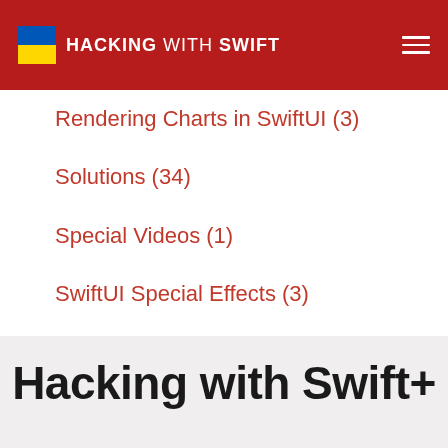HACKING WITH SWIFT
Rendering Charts in SwiftUI (3)
Solutions (34)
Special Videos (1)
SwiftUI Special Effects (3)
Ultimate Portfolio App (57)
Working with data (2)
Hacking with Swift+